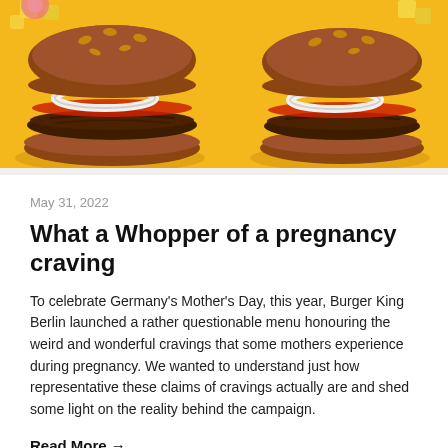[Figure (photo): Photo of Burger King burgers on a yellow background, showing juicy burgers with toppings including onion rings, red pepper, and sesame buns.]
May 31, 2022
What a Whopper of a pregnancy craving
To celebrate Germany's Mother's Day, this year, Burger King Berlin launched a rather questionable menu honouring the weird and wonderful cravings that some mothers experience during pregnancy. We wanted to understand just how representative these claims of cravings actually are and shed some light on the reality behind the campaign.
Read More →